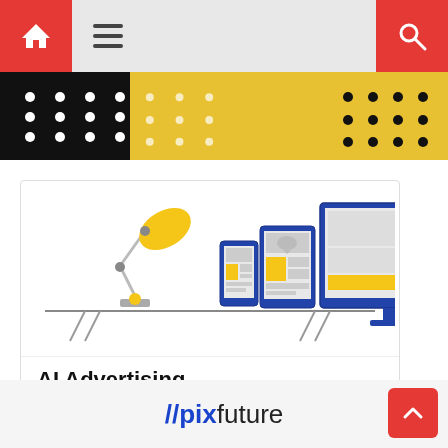[Figure (screenshot): Website navigation bar with red home button, hamburger menu icon, and red search button on gray background]
[Figure (illustration): Decorative banner with black left section with white dots, yellow/gold center section with white dots, and right section with black dots on gold background]
[Figure (infographic): AI Advertising promotional card showing a desk lamp illustration alongside devices (smartphone, tablet, desktop monitor) with layout mockups featuring yellow content blocks. Text reads 'AI Advertising', 'Reach Your Audience', and 'Start Ad >']
[Figure (logo): //pixfuture logo in blue and dark blue text at bottom of page]
[Figure (other): Red back-to-top button with white chevron arrow in bottom right corner]